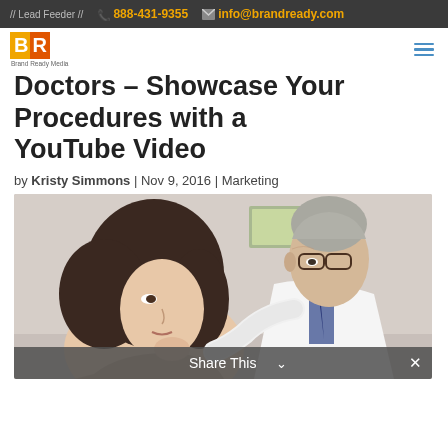// Lead Feeder //   ☎ 888-431-9355   ✉ info@brandready.com
Doctors – Showcase Your Procedures with a YouTube Video
by Kristy Simmons | Nov 9, 2016 | Marketing
[Figure (photo): A female patient and an older male doctor in a white coat with glasses examining her face/neck area in a clinical setting]
Share This